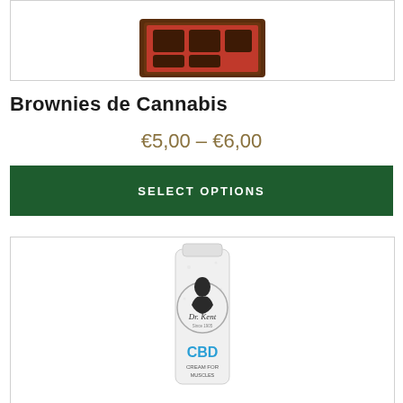[Figure (photo): Partial top view of cannabis brownies in a dark wooden box with red packaging, cropped at top of page]
Brownies de Cannabis
€5,00 – €6,00
SELECT OPTIONS
[Figure (photo): Dr. Kent brand CBD cream tube product, white tube with silhouette logo and CBD CREAM FOR text visible]